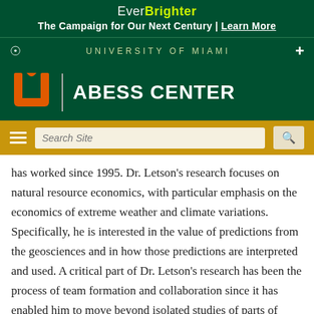Ever Brighter
The Campaign for Our Next Century | Learn More
UNIVERSITY OF MIAMI
[Figure (logo): University of Miami Abess Center logo with orange U logo and green background]
has worked since 1995. Dr. Letson's research focuses on natural resource economics, with particular emphasis on the economics of extreme weather and climate variations. Specifically, he is interested in the value of predictions from the geosciences and in how those predictions are interpreted and used. A critical part of Dr. Letson's research has been the process of team formation and collaboration since it has enabled him to move beyond isolated studies of parts of weather and climate problems to a more systemic